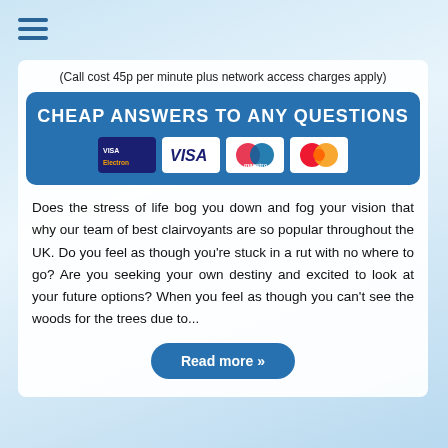[Figure (other): Hamburger menu icon (three horizontal blue lines)]
(Call cost 45p per minute plus network access charges apply)
[Figure (other): Blue rounded banner with text 'CHEAP ANSWERS TO ANY QUESTIONS' and payment card logos: Visa Electron, VISA, Maestro, MasterCard]
Does the stress of life bog you down and fog your vision that why our team of best clairvoyants are so popular throughout the UK. Do you feel as though you're stuck in a rut with no where to go? Are you seeking your own destiny and excited to look at your future options? When you feel as though you can't see the woods for the trees due to...
Read more »